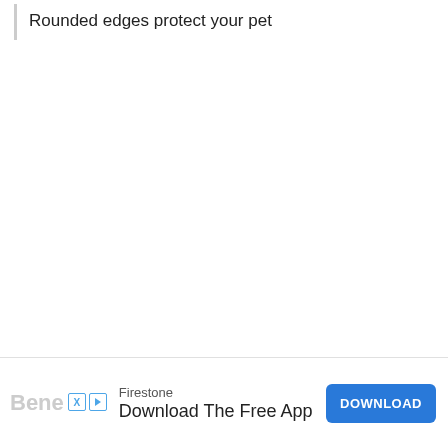Rounded edges protect your pet
Benefits & Drawbacks of MidWest Foldable Metal Dog Exercise Pen / Pet Playpen
[Figure (other): Advertisement banner: Firestone - Download The Free App with a blue DOWNLOAD button and ad icons]